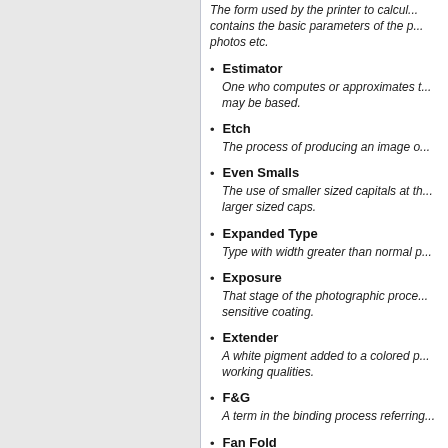The form used by the printer to calcul... contains the basic parameters of the p... photos etc.
Estimator — One who computes or approximates t... may be based.
Etch — The process of producing an image o...
Even Smalls — The use of smaller sized capitals at th... larger sized caps.
Expanded Type — Type with width greater than normal p...
Exposure — That stage of the photographic proce... sensitive coating.
Extender — A white pigment added to a colored p... working qualities.
F&G — A term in the binding process referring...
Fan Fold